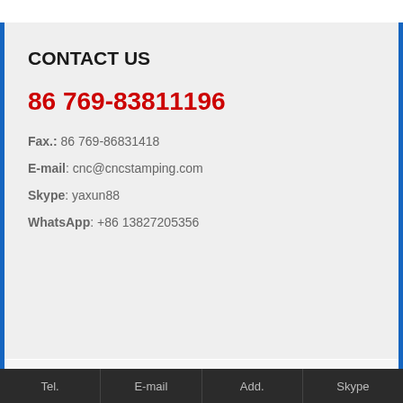CONTACT US
86 769-83811196
Fax.: 86 769-86831418
E-mail: cnc@cncstamping.com
Skype: yaxun88
WhatsApp: +86 13827205356
Copyright © 2002-2017 DEDECMS. KangDing All rights reserved
Tel.  E-mail  Add.  Skype